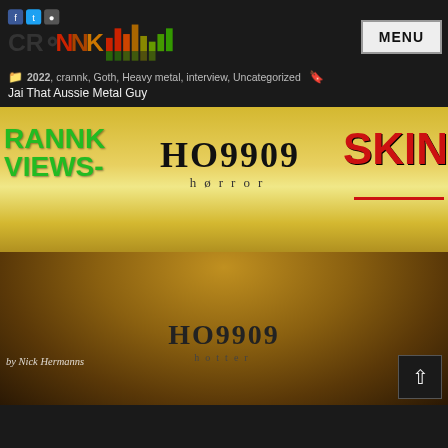[Figure (logo): CRANNK logo with colorful bar chart equalizer graphic and social media icons]
MENU
2022, crannk, Goth, Heavy metal, interview, Uncategorized
Jai That Aussie Metal Guy
[Figure (photo): CRANNK VIEWS article banner featuring HO9909 Horror album review with golden statue imagery, text: CRANNK VIEWS- HO9909 horror SKIN by Nick Hermanns]